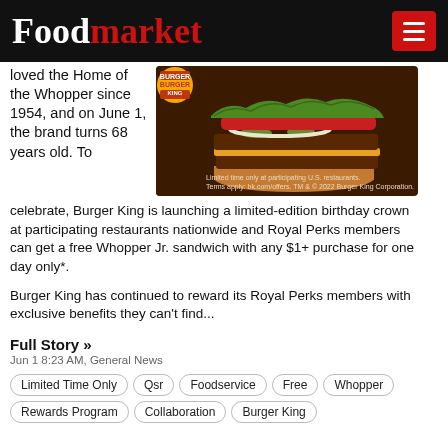Foodmarket
loved the Home of the Whopper since 1954, and on June 1, the brand turns 68 years old. To celebrate, Burger King is launching a limited-edition birthday crown at participating restaurants nationwide and Royal Perks members can get a free Whopper Jr. sandwich with any $1+ purchase for one day only*.
[Figure (photo): Burger King advertisement showing a double Whopper burger with lettuce, tomato, onion toppings on a dark brown background. Burger King logo visible bottom left with text: Limited time only at participating U.S. restaurants. Terms apply: bk.com/offers. TM & © 2022 Burger King Corporation.]
Burger King has continued to reward its Royal Perks members with exclusive benefits they can't find...
Full Story »
Jun 1 8:23 AM, General News
Limited Time Only
Qsr
Foodservice
Free
Whopper
Rewards Program
Collaboration
Burger King